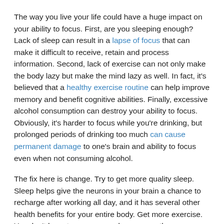The way you live your life could have a huge impact on your ability to focus. First, are you sleeping enough? Lack of sleep can result in a lapse of focus that can make it difficult to receive, retain and process information. Second, lack of exercise can not only make the body lazy but make the mind lazy as well. In fact, it's believed that a healthy exercise routine can help improve memory and benefit cognitive abilities. Finally, excessive alcohol consumption can destroy your ability to focus. Obviously, it's harder to focus while you're drinking, but prolonged periods of drinking too much can cause permanent damage to one's brain and ability to focus even when not consuming alcohol.
The fix here is change. Try to get more quality sleep. Sleep helps give the neurons in your brain a chance to recharge after working all day, and it has several other health benefits for your entire body. Get more exercise. You don't have to go crazy and run a marathon every day, but get some exercise as often as possible. And watch the alcohol. This one is obvious, but drinking too much can lead to way more problems than memory loss and lack of focus. Responsible moderation is key in maintaining a healthy